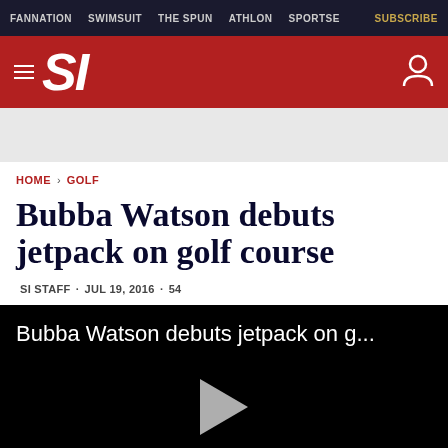FANNATION · SWIMSUIT · THE SPUN · ATHLON · SPORTSE · SUBSCRIBE
[Figure (logo): Sports Illustrated SI logo on red background with hamburger menu icon and user account icon]
HOME › GOLF
Bubba Watson debuts jetpack on golf course
SI STAFF · JUL 19, 2016 · 54
[Figure (screenshot): Video player with black background showing title 'Bubba Watson debuts jetpack on g...' and a play button triangle]